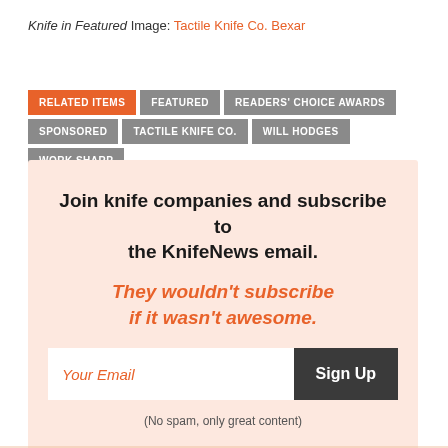Knife in Featured Image: Tactile Knife Co. Bexar
RELATED ITEMS
FEATURED
READERS' CHOICE AWARDS
SPONSORED
TACTILE KNIFE CO.
WILL HODGES
WORK SHARP
Join knife companies and subscribe to the KnifeNews email. They wouldn't subscribe if it wasn't awesome. (No spam, only great content)